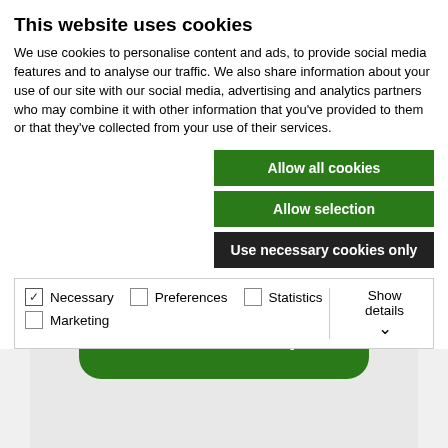This website uses cookies
We use cookies to personalise content and ads, to provide social media features and to analyse our traffic. We also share information about your use of our site with our social media, advertising and analytics partners who may combine it with other information that you've provided to them or that they've collected from your use of their services.
Allow all cookies
Allow selection
Use necessary cookies only
Necessary  Preferences  Statistics  Marketing  Show details
[Figure (screenshot): Green rounded button labeled 'Visit Shop' with underline, on a light grey background]